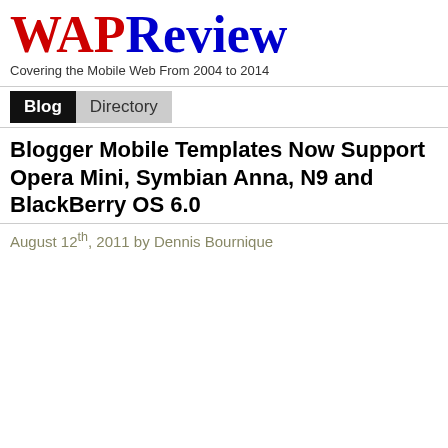WAPReview
Covering the Mobile Web From 2004 to 2014
Blog  Directory
Blogger Mobile Templates Now Support Opera Mini, Symbian Anna, N9 and BlackBerry OS 6.0
August 12th, 2011 by Dennis Bournique